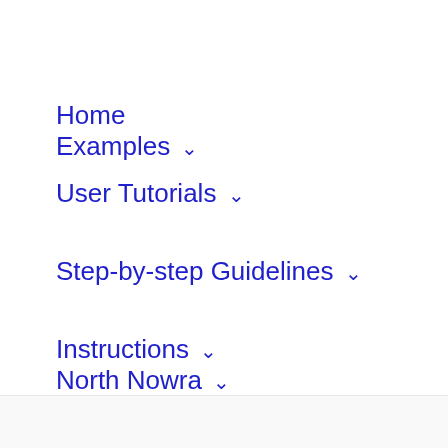Home
Examples ∨
User Tutorials ∨
Step-by-step Guidelines ∨
Instructions ∨
North Nowra ∨
Contacts